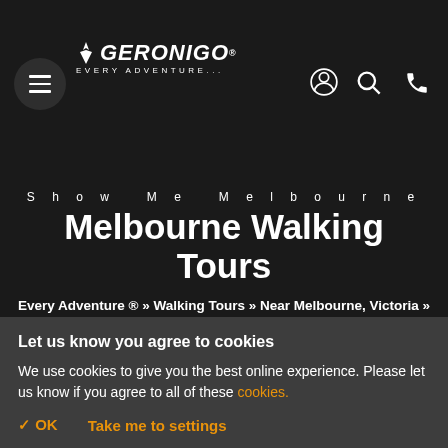[Figure (logo): Geronigo logo with hamburger menu, navigation icons (user, search, phone) on dark background]
Show Me Melbourne
Melbourne Walking Tours
Every Adventure ® » Walking Tours » Near Melbourne, Victoria » Walking Tours Melbourne
Let us know you agree to cookies
We use cookies to give you the best online experience. Please let us know if you agree to all of these cookies.
✓ OK   Take me to settings